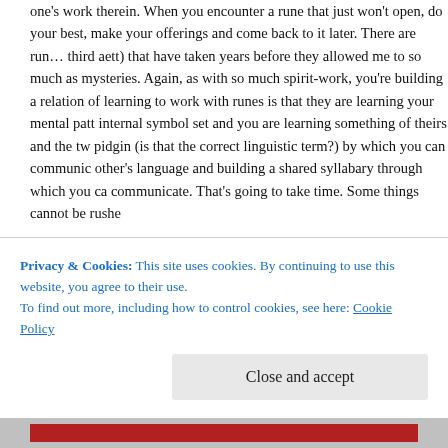one's work therein. When you encounter a rune that just won't open, do your best, make your offerings and come back to it later. There are runes (third aett) that have taken years before they allowed me to so much as glimpse mysteries. Again, as with so much spirit-work, you're building a relationship. Part of learning to work with runes is that they are learning your mental patterns and internal symbol set and you are learning something of theirs and the two create a pidgin (is that the correct linguistic term?) by which you can communicate each other's language and building a shared syllabary through which you can communicate. That's going to take time. Some things cannot be rushed.
Before I close, I want to take a moment's focus on the first aett. As with all, there are numerous ways that one can approach and interpret the narratives there are numerous patterns in the way the runes relate to each other, While these stories are not direct engagement with the runic powers, they are worth conceptualizing and learning from them. They are doorways into each very brief way of reading through the first aett connectively. Fehu is the
Privacy & Cookies: This site uses cookies. By continuing to use this website, you agree to their use.
To find out more, including how to control cookies, see here: Cookie Policy
Close and accept